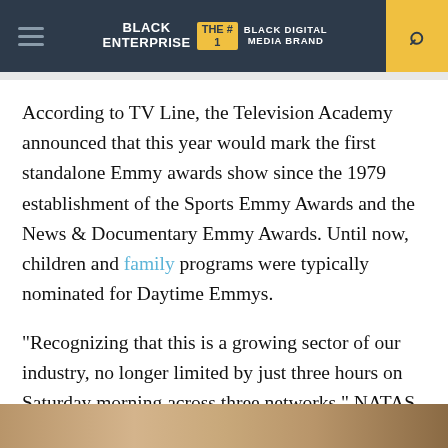BLACK ENTERPRISE THE #1 BLACK DIGITAL MEDIA BRAND
According to TV Line, the Television Academy announced that this year would mark the first standalone Emmy awards show since the 1979 establishment of the Sports Emmy Awards and the News & Documentary Emmy Awards. Until now, children and family programs were typically nominated for Daytime Emmys.
“Recognizing that this is a growing sector of our industry, no longer limited by just three hours on Saturday morning across three networks,” NATAS president/CEO Adam Sharp previously said, as per Variety.
[Figure (photo): Bottom strip showing partial image of a person]